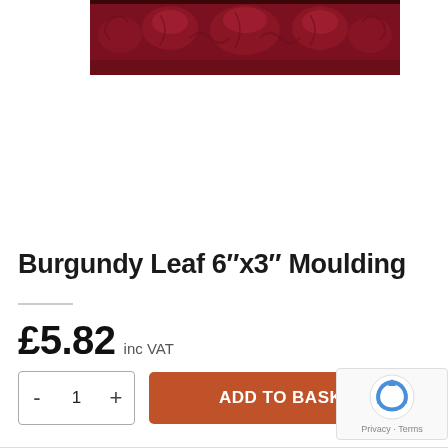[Figure (photo): Burgundy glazed ceramic leaf moulding tile with ornate raised leaf and scroll decorative pattern, dark red/burgundy color]
Burgundy Leaf 6″x3″ Moulding
£5.82 inc VAT
- 1 + ADD TO BASKET